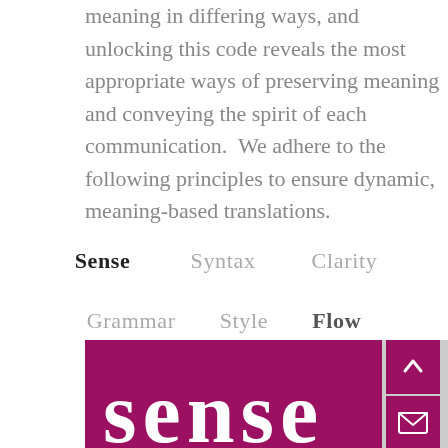meaning in differing ways, and unlocking this code reveals the most appropriate ways of preserving meaning and conveying the spirit of each communication.  We adhere to the following principles to ensure dynamic, meaning-based translations.
Sense   Syntax   Clarity
Grammar   Style   Flow
[Figure (other): Magenta/purple banner with large white word 'sense' in serif font partially visible at bottom, with navigation buttons (up arrow and envelope/mail icon) on the right side over a grey background strip]